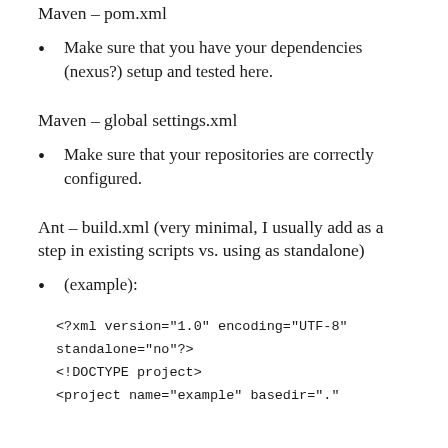Maven – pom.xml
Make sure that you have your dependencies (nexus?) setup and tested here.
Maven – global settings.xml
Make sure that your repositories are correctly configured.
Ant – build.xml (very minimal, I usually add as a step in existing scripts vs. using as standalone)
(example):
<?xml version="1.0" encoding="UTF-8"
standalone="no"?>
<!DOCTYPE project>
<project name="example" basedir="."